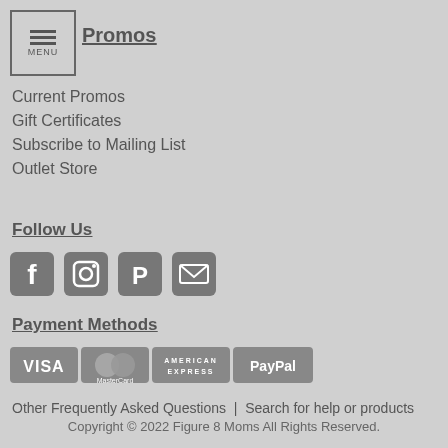Promos
Current Promos
Gift Certificates
Subscribe to Mailing List
Outlet Store
Follow Us
[Figure (infographic): Social media icons: Facebook, Instagram, Pinterest, Email]
Payment Methods
[Figure (infographic): Payment method icons: Visa, Mastercard, American Express, PayPal]
Other Frequently Asked Questions | Search for help or products
Copyright © 2022 Figure 8 Moms All Rights Reserved.